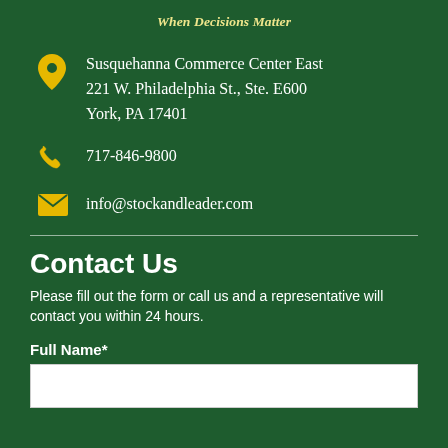When Decisions Matter
Susquehanna Commerce Center East
221 W. Philadelphia St., Ste. E600
York, PA 17401
717-846-9800
info@stockandleader.com
Contact Us
Please fill out the form or call us and a representative will contact you within 24 hours.
Full Name*